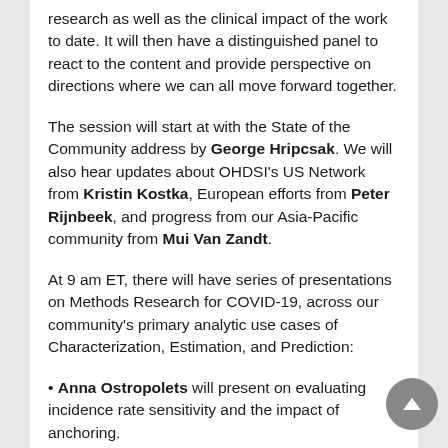research as well as the clinical impact of the work to date. It will then have a distinguished panel to react to the content and provide perspective on directions where we can all move forward together.
The session will start at with the State of the Community address by George Hripcsak. We will also hear updates about OHDSI's US Network from Kristin Kostka, European efforts from Peter Rijnbeek, and progress from our Asia-Pacific community from Mui Van Zandt.
At 9 am ET, there will have series of presentations on Methods Research for COVID-19, across our community's primary analytic use cases of Characterization, Estimation, and Prediction:
• Anna Ostropolets will present on evaluating incidence rate sensitivity and the impact of anchoring.
• Rupa Makadia will present findings on the sensitivity of incidence rates to phenotype algorithm